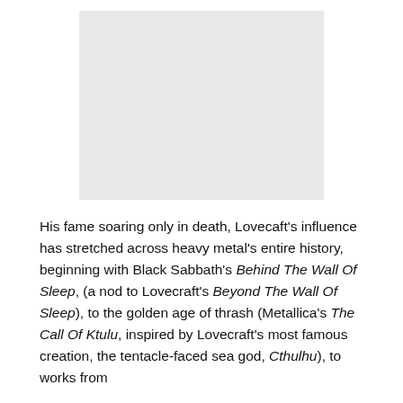[Figure (photo): A light gray rectangular placeholder image, centered at the top of the page.]
His fame soaring only in death, Lovecaft's influence has stretched across heavy metal's entire history, beginning with Black Sabbath's Behind The Wall Of Sleep, (a nod to Lovecraft's Beyond The Wall Of Sleep), to the golden age of thrash (Metallica's The Call Of Ktulu, inspired by Lovecraft's most famous creation, the tentacle-faced sea god, Cthulhu), to works from